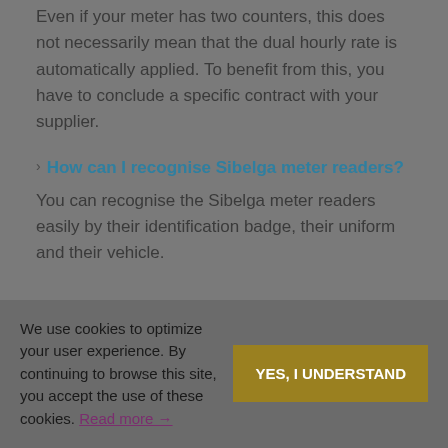Even if your meter has two counters, this does not necessarily mean that the dual hourly rate is automatically applied. To benefit from this, you have to conclude a specific contract with your supplier.
How can I recognise Sibelga meter readers?
You can recognise the Sibelga meter readers easily by their identification badge, their uniform and their vehicle.
We use cookies to optimize your user experience. By continuing to browse this site, you accept the use of these cookies. Read more →